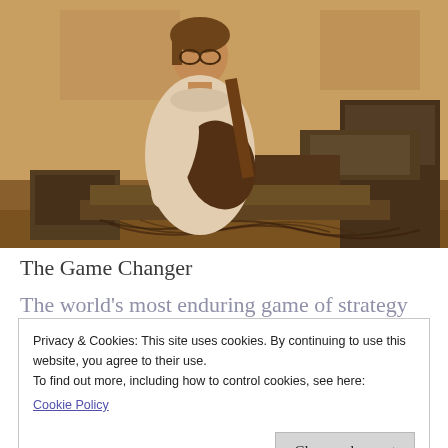[Figure (photo): Sepia-toned vintage photograph of a person with glasses and a white turtleneck sweater playing an electric guitar amidst a large array of synthesizer and electronic music equipment in what appears to be a music studio or lab setting.]
The Game Changer
The world's most enduring game of strategy
Privacy & Cookies: This site uses cookies. By continuing to use this website, you agree to their use.
To find out more, including how to control cookies, see here:
Cookie Policy
Close and accept